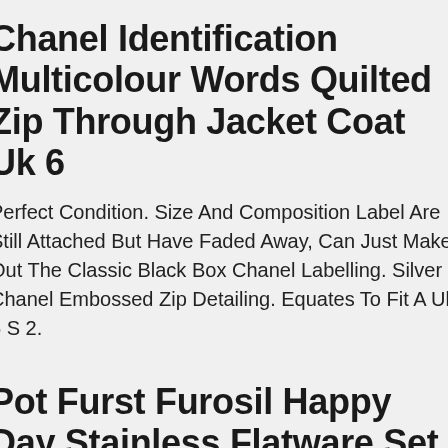Chanel Identification Multicolour Words Quilted Zip Through Jacket Coat Uk 6
Perfect Condition. Size And Composition Label Are Still Attached But Have Faded Away, Can Just Make Out The Classic Black Box Chanel Labelling. Silver Chanel Embossed Zip Detailing. Equates To Fit A Uk 6 S 2.
Pot Furst Furosil Happy Day Stainless Flatware Set Mid Century Modern Germany.
Bright And Clean Used Very Little Showing Little Or No Signs Of Use In Any Way. See Photos For Exact Item You Will Be Receiving, Several Rare